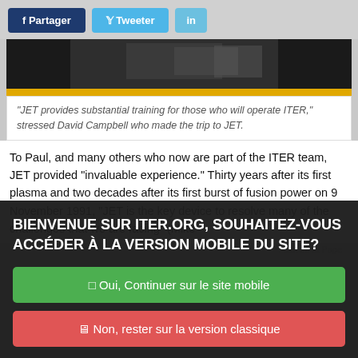[Figure (screenshot): Social sharing buttons: f Partager (Facebook, dark blue), Tweeter (Twitter, light blue), in (LinkedIn, light blue)]
[Figure (photo): Partial dark photograph, cropped at top, with yellow bottom border line]
"JET provides substantial training for those who will operate ITER," stressed David Campbell who made the trip to JET.
To Paul, and many others who now are part of the ITER team, JET provided "invaluable experience." Thirty years after its first plasma and two decades after its first burst of fusion power on 9 November 1991, "JET is the key device to resolve many of the challenges that we are facing" (Mike
BIENVENUE SUR ITER.ORG, SOUHAITEZ-VOUS ACCÉDER À LA VERSION MOBILE DU SITE?
□ Oui, Continuer sur le site mobile
□ Non, rester sur la version classique